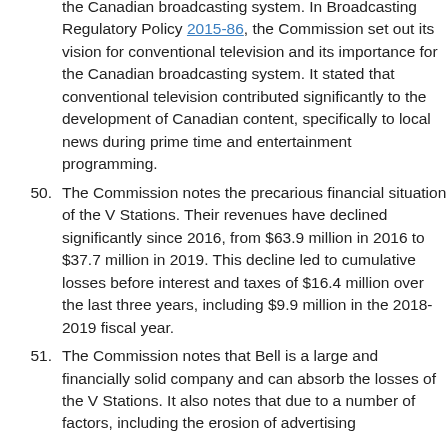Conventional television stations are at the heart of the Canadian broadcasting system. In Broadcasting Regulatory Policy 2015-86, the Commission set out its vision for conventional television and its importance for the Canadian broadcasting system. It stated that conventional television contributed significantly to the development of Canadian content, specifically to local news during prime time and entertainment programming.
50. The Commission notes the precarious financial situation of the V Stations. Their revenues have declined significantly since 2016, from $63.9 million in 2016 to $37.7 million in 2019. This decline led to cumulative losses before interest and taxes of $16.4 million over the last three years, including $9.9 million in the 2018-2019 fiscal year.
51. The Commission notes that Bell is a large and financially solid company and can absorb the losses of the V Stations. It also notes that due to a number of factors, including the erosion of advertising